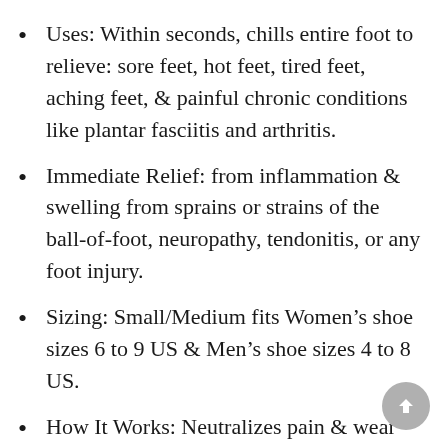Uses: Within seconds, chills entire foot to relieve: sore feet, hot feet, tired feet, aching feet, & painful chronic conditions like plantar fasciitis and arthritis.
Immediate Relief: from inflammation & swelling from sprains or strains of the ball-of-foot, neuropathy, tendonitis, or any foot injury.
Sizing: Small/Medium fits Women's shoe sizes 6 to 9 US & Men's shoe sizes 4 to 8 US.
How It Works: Neutralizes pain & wear and tear with a chilled gel pack beneath the length of the foot, & another half-size pack for top of foot or behind heel.
Ideal comfort items for chemo patients, chemotherapy treatments, chemo care package for men, cooling socks, cool socks for